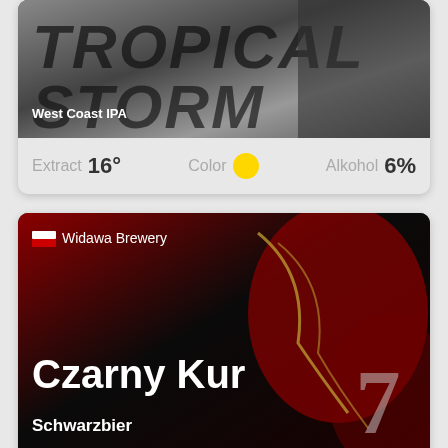[Figure (photo): Beer label image for West Coast IPA Tropical Storm with dark gray storm background. Shows text 'TROPICAL STORM' in large stylized uppercase letters and 'West Coast IPA' subtitle in white.]
Extract 16° Color Alkohol 6%
[Figure (photo): Beer label image for Czarny Kur Schwarzbier by Widawa Brewery. Dark black and deep red background with decorative medieval-style graphics. Shows Polish flag, brewery name, beer name 'Czarny Kur', and style 'Schwarzbier' in white text.]
Extract 14° Color Alkohol 5,2%